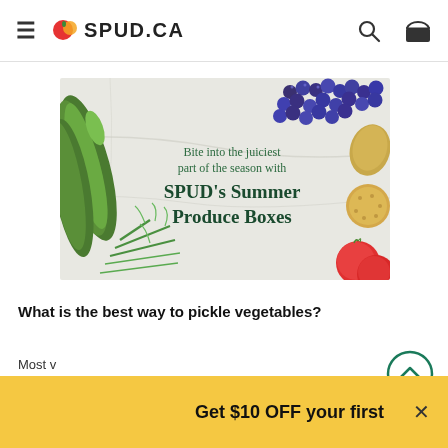≡ 🍅 SPUD.CA  🔍 🧺
[Figure (illustration): Promotional banner for SPUD's Summer Produce Boxes showing vegetables and fruits (zucchini, blueberries, dill, tomatoes, potato, cracker) on a marble background. Text reads: 'Bite into the juiciest part of the season with SPUD's Summer Produce Boxes']
What is the best way to pickle vegetables?
Most v
—unles
Get $10 OFF your first